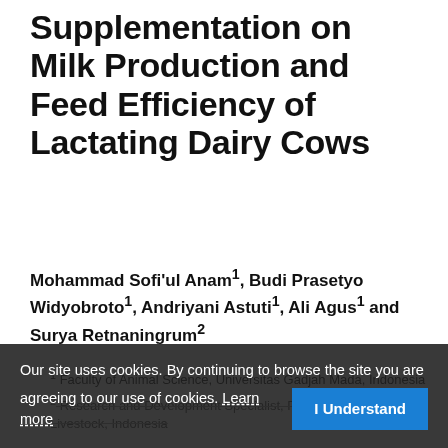Supplementation on Milk Production and Feed Efficiency of Lactating Dairy Cows
Mohammad Sofi'ul Anam¹, Budi Prasetyo Widyobroto¹, Andriyani Astuti¹, Ali Agus¹ and Surya Retnaningrum²
¹ Faculty of Animal Science, Universitas Gadjah Mada, Indonesia
² Research and Development Specialist, PT. Great Giant Livestock, Indonesia
Our site uses cookies. By continuing to browse the site you are agreeing to our use of cookies. Learn more  I Understand
Abstract